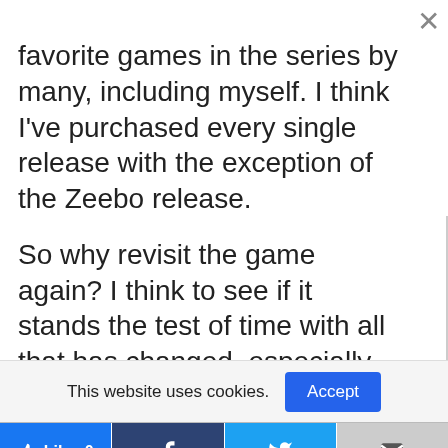favorite games in the series by many, including myself. I think I've purchased every single release with the exception of the Zeebo release.
So why revisit the game again? I think to see if it stands the test of time with all that has changed, especially with Resident Evil games. RE4 was first released in 2005 as an exclusive on the Nintendo Gamecube. It introduced the first real evolution to
This website uses cookies.
Accept
Like 0